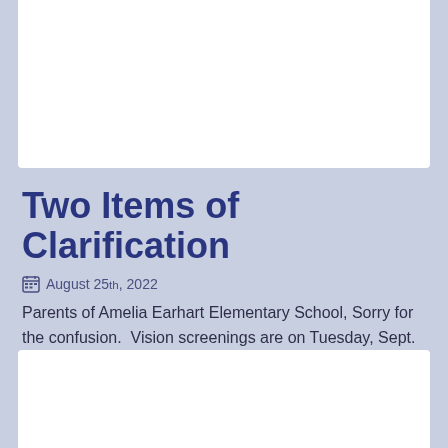Two Items of Clarification
August 25th, 2022
Parents of Amelia Earhart Elementary School, Sorry for the confusion.  Vision screenings are on Tuesday, Sept. 13th. (2 dates listed in the previous email). FYI - please see the list below for...